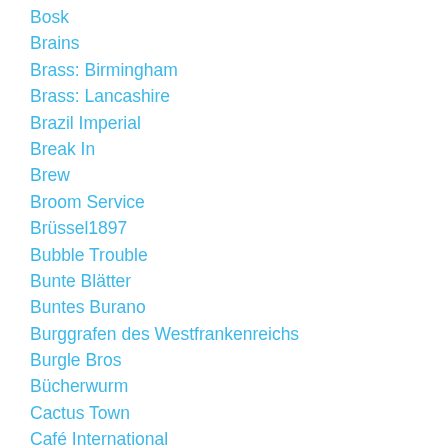Bosk
Brains
Brass: Birmingham
Brass: Lancashire
Brazil Imperial
Break In
Brew
Broom Service
Brüssel1897
Bubble Trouble
Bunte Blätter
Buntes Burano
Burggrafen des Westfrankenreichs
Burgle Bros
Bücherwurm
Cactus Town
Café International
Calavera
Calico
Call to Adventure
Camel Up
Canvas
Car…